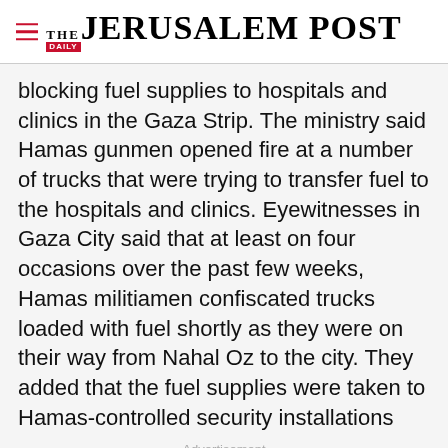THE JERUSALEM POST
blocking fuel supplies to hospitals and clinics in the Gaza Strip. The ministry said Hamas gunmen opened fire at a number of trucks that were trying to transfer fuel to the hospitals and clinics. Eyewitnesses in Gaza City said that at least on four occasions over the past few weeks, Hamas militiamen confiscated trucks loaded with fuel shortly as they were on their way from Nahal Oz to the city. They added that the fuel supplies were taken to Hamas-controlled security installations
Advertisement